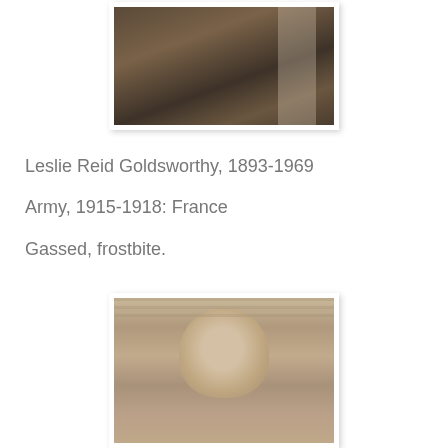[Figure (photo): Partial photograph of a person in dark clothing, cropped to show torso/chest area only, sepia/dark toned image]
Leslie Reid Goldsworthy, 1893-1969
Army, 1915-1918: France
Gassed, frostbite.
[Figure (photo): Photograph of a man's face and upper body, light-haired, middle-aged, sepia toned, standing against a horizontal-striped background]